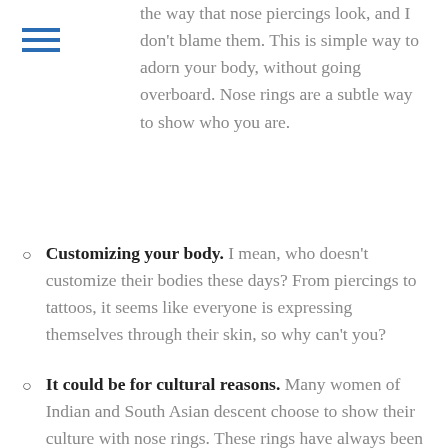[Figure (other): Hamburger menu icon with three horizontal blue lines]
the way that nose piercings look, and I don't blame them. This is simple way to adorn your body, without going overboard. Nose rings are a subtle way to show who you are.
Customizing your body. I mean, who doesn't customize their bodies these days? From piercings to tattoos, it seems like everyone is expressing themselves through their skin, so why can't you?
It could be for cultural reasons. Many women of Indian and South Asian descent choose to show their culture with nose rings. These rings have always been a sign of Indian and South Asian culture, especially when they are adorned. After getting your piercing,